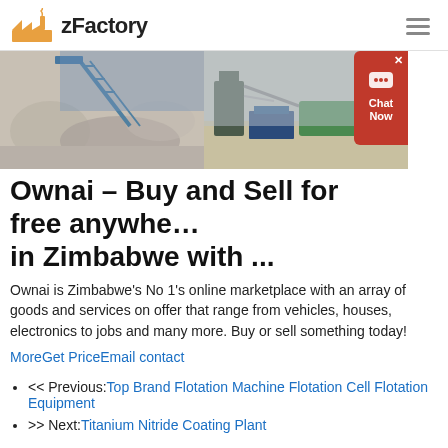zFactory
[Figure (photo): Banner image showing two industrial/mining scenes side by side: left shows crushed stone/aggregate with a conveyor structure against blue sky, right shows industrial equipment and machinery.]
Ownai – Buy and Sell for free anywhere in Zimbabwe with ...
Ownai is Zimbabwe's No 1's online marketplace with an array of goods and services on offer that range from vehicles, houses, electronics to jobs and many more. Buy or sell something today!
MoreGet PriceEmail contact
<< Previous: Top Brand Flotation Machine Flotation Cell Flotation Equipment
>> Next: Titanium Nitride Coating Plant